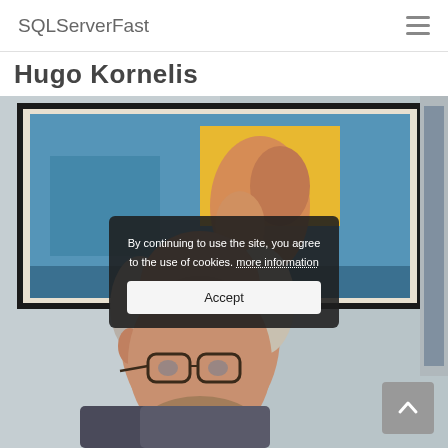SQLServerFast
Hugo Kornelis
[Figure (photo): Photo of Hugo Kornelis, a middle-aged man with glasses and grey-streaked hair, with a colorful surrealist painting visible on the wall behind him.]
By continuing to use the site, you agree to the use of cookies. more information
Accept